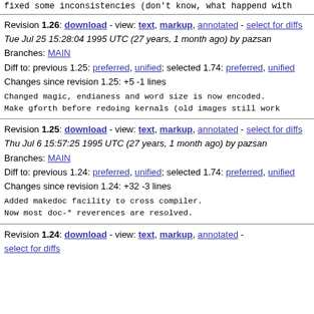fixed some inconsistencies (don't know, what happend with
Revision 1.26: download - view: text, markup, annotated - select for diffs
Tue Jul 25 15:28:04 1995 UTC (27 years, 1 month ago) by pazsan
Branches: MAIN
Diff to: previous 1.25: preferred, unified; selected 1.74: preferred, unified
Changes since revision 1.25: +5 -1 lines
Changed magic, endianess and word size is now encoded.
Make gforth before redoing kernals (old images still work
Revision 1.25: download - view: text, markup, annotated - select for diffs
Thu Jul 6 15:57:25 1995 UTC (27 years, 1 month ago) by pazsan
Branches: MAIN
Diff to: previous 1.24: preferred, unified; selected 1.74: preferred, unified
Changes since revision 1.24: +32 -3 lines
Added makedoc facility to cross compiler.
Now most doc-* reverences are resolved.
Revision 1.24: download - view: text, markup, annotated -
select for diffs